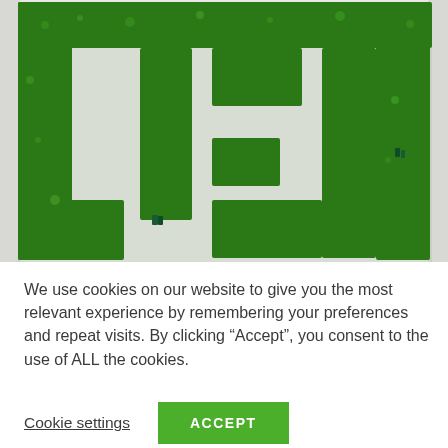[Figure (photo): Aerial view of a green maze or logo pattern made of small green plant-like or candy-like objects arranged on a white/grey surface, forming rectangular shapes resembling letters or a maze structure.]
We use cookies on our website to give you the most relevant experience by remembering your preferences and repeat visits. By clicking “Accept”, you consent to the use of ALL the cookies.
Cookie settings
ACCEPT